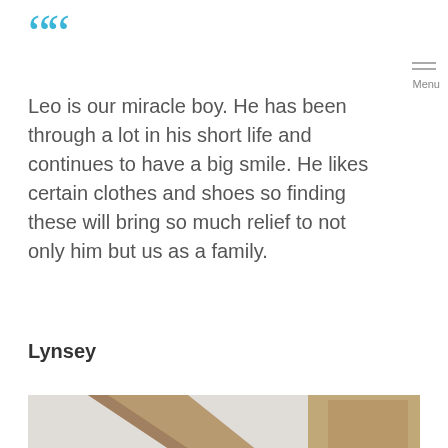““
Leo is our miracle boy. He has been through a lot in his short life and continues to have a big smile. He likes certain clothes and shoes so finding these will bring so much relief to not only him but us as a family.
Lynsey
[Figure (photo): Close-up photograph of a child with dark curly hair, taken from above. The background shows wooden furniture including what appears to be shelving or cabinets in a bedroom setting.]